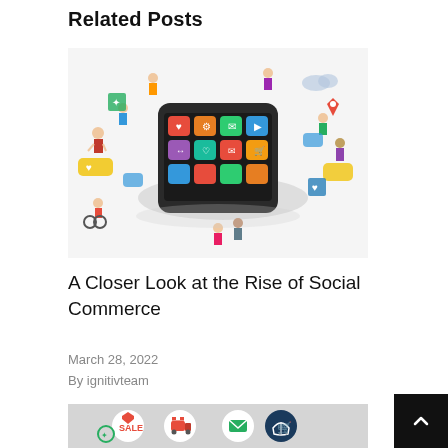Related Posts
[Figure (illustration): Isometric illustration of a large smartphone with colorful social media app icons on its screen, surrounded by diverse groups of small illustrated people interacting, holding signs and speech bubbles, on a white background.]
A Closer Look at the Rise of Social Commerce
March 28, 2022
By ignitivteam
[Figure (illustration): Partial illustration showing a grey background with colorful ecommerce and delivery icons including a sale tag, shopping cart, delivery truck, and basket.]